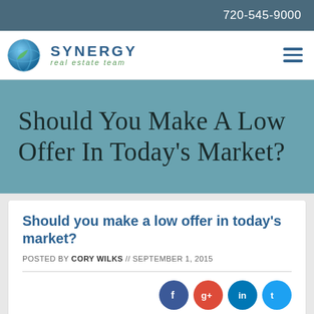720-545-9000
[Figure (logo): Synergy Real Estate Team logo with circular globe icon, company name SYNERGY in blue uppercase letters, and 'real estate team' in green italic below]
Should You Make A Low Offer In Today's Market?
Should you make a low offer in today's market?
POSTED BY CORY WILKS // SEPTEMBER 1, 2015
[Figure (infographic): Social media share buttons: Facebook (blue), Google+ (red), LinkedIn (dark blue), Twitter (light blue), and a second partially visible row below]